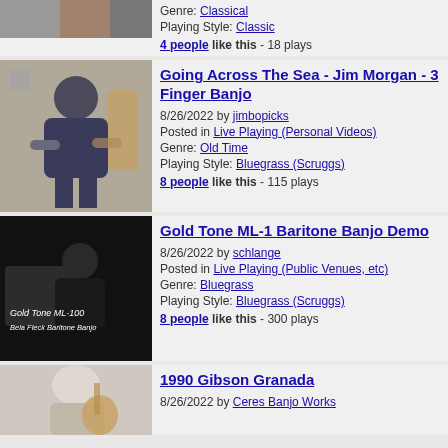[Figure (photo): Partial top entry thumbnail - person playing banjo, cropped]
Genre: Classical
Playing Style: Classic
4 people like this - 18 plays
[Figure (photo): Man playing banjo sitting down with instruments in background]
Going Across The Sea - Jim Morgan - 3 Finger Banjo
8/26/2022 by jimbopicks
Posted in Live Playing (Personal Videos)
Genre: Old Time
Playing Style: Bluegrass (Scruggs)
8 people like this - 115 plays
[Figure (photo): Dark video still showing Gold Tone ML-100 Bela Fleck Baritone Banjo text overlay]
Gold Tone ML-1 Baritone Banjo Demo
8/26/2022 by schlange
Posted in Live Playing (Public Venues, etc)
Genre: Bluegrass
Playing Style: Bluegrass (Scruggs)
8 people like this - 300 plays
[Figure (photo): Person playing banjo, partial bottom entry]
1990 Gibson Granada
8/26/2022 by Ceres Banjo Works